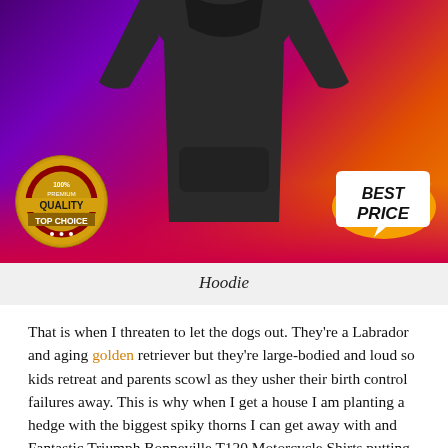[Figure (photo): A dark gray hoodie sweatshirt displayed against a purple/magenta/orange gradient background, with a gold '100% Premium Quality Top Choice' badge on the lower left and a 'Best Price' speech bubble badge on the lower right.]
Hoodie
That is when I threaten to let the dogs out. They're a Labrador and aging golden retriever but they're large-bodied and loud so kids retreat and parents scowl as they usher their birth control failures away. This is why when I get a house I am planting a hedge with the biggest spiky thorns I can get away with and Fantastic Triumph Bonneville T120 Motorcycle Shirts putting a fence in front of it for good measure. If I thought I could get away with it I'd put in a damn moat. Then all decorations will be inside the fence behind a gate and I can get their asses for